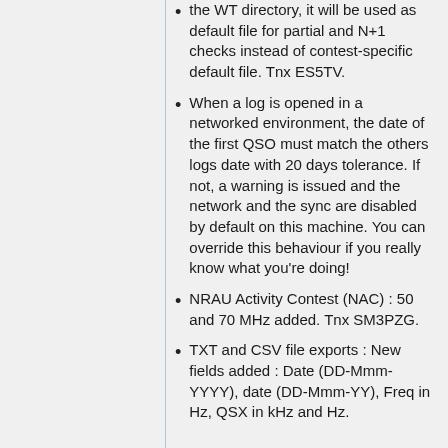the WT directory, it will be used as default file for partial and N+1 checks instead of contest-specific default file. Tnx ES5TV.
When a log is opened in a networked environment, the date of the first QSO must match the others logs date with 20 days tolerance. If not, a warning is issued and the network and the sync are disabled by default on this machine. You can override this behaviour if you really know what you're doing!
NRAU Activity Contest (NAC) : 50 and 70 MHz added. Tnx SM3PZG.
TXT and CSV file exports : New fields added : Date (DD-Mmm-YYYY), date (DD-Mmm-YY), Freq in Hz, QSX in kHz and Hz.